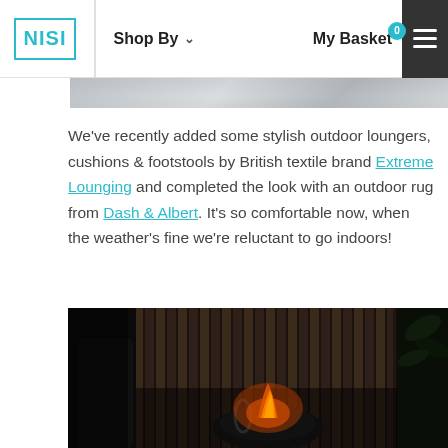NISI | Shop By | My Basket 0
[Figure (photo): Partial top strip of an outdoor/interior photo in grey tones]
We've recently added some stylish outdoor loungers, cushions & footstools by British textile brand Extreme Lounging and completed the look with an outdoor rug from Dash & Albert. It's so comfortable now, when the weather's fine we're reluctant to go indoors!
[Figure (photo): Dark moody outdoor scene showing a fire pit/bowl with fire, dark vertical wood slat wall in the background, lush plant on right, dark lounger chair on left]